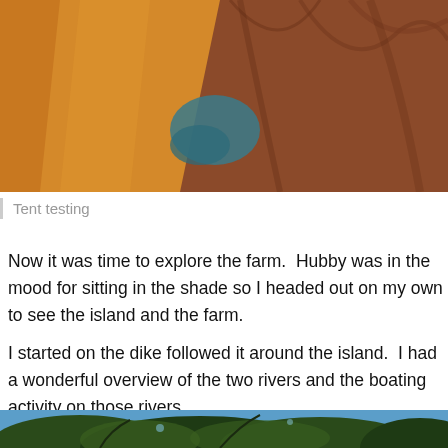[Figure (photo): Close-up photo of tent fabric showing orange, brown/red, and teal colors — inside of tent or sleeping bag area]
Tent testing
Now it was time to explore the farm.  Hubby was in the mood for sitting in the shade so I headed out on my own to see the island and the farm.
I started on the dike followed it around the island.  I had a wonderful overview of the two rivers and the boating activity on those rivers.
[Figure (photo): Photo looking up through green tree leaves and branches against a bright blue sky]